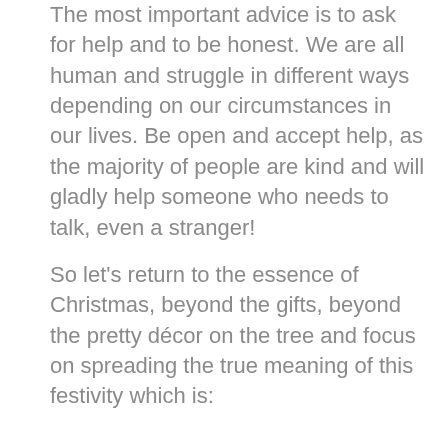The most important advice is to ask for help and to be honest. We are all human and struggle in different ways depending on our circumstances in our lives. Be open and accept help, as the majority of people are kind and will gladly help someone who needs to talk, even a stranger!
So let's return to the essence of Christmas, beyond the gifts, beyond the pretty décor on the tree and focus on spreading the true meaning of this festivity which is:
Kindness, Compassion, Love and Hope!
Merry Christmas to you all and a Happy & Healthy New Year
If you should like to return next month to health...